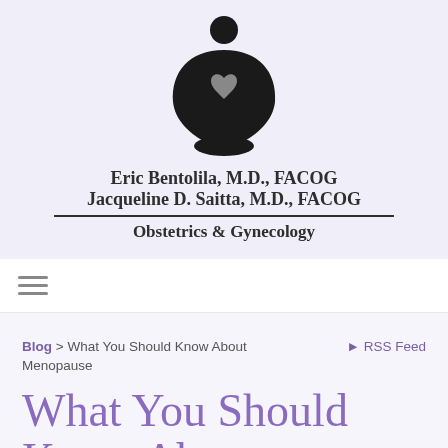[Figure (logo): Medical practice logo: stylized figure seated in meditation pose with heart shapes forming the body, in black silhouette]
Eric Bentolila, M.D., FACOG
Jacqueline D. Saitta, M.D., FACOG
Obstetrics & Gynecology
≡ (navigation menu icon)
Blog > What You Should Know About Menopause    ⊲ RSS Feed
What You Should Know About Menopause